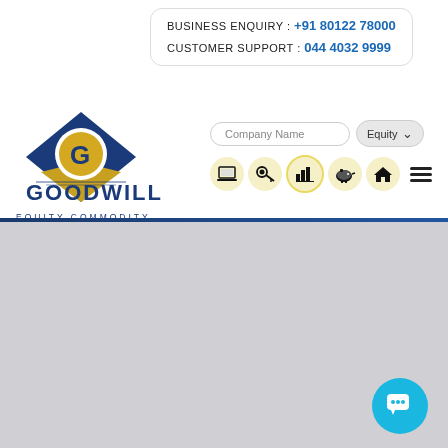BUSINESS ENQUIRY : +91 80122 78000
CUSTOMER SUPPORT : 044 4032 9999
[Figure (logo): Goodwill Equity Commodity Currency logo - blue diamond shape with gold G letter inside, text GOODWILL EQUITY COMMODITY CURRENCY below]
Company Name
Equity
[Figure (infographic): Navigation icons row: laptop, lock/key, bar chart, piggy bank, home, hamburger menu]
USEFUL LINKS
Internal Policies
Modification and Error
Guidance Note-Do's & Dont's For the Clients
Polices & Procedures
Terms and Conditions
Terms & Conditions
- Products & Services
INVESTOR COMPLAINTS
NSE